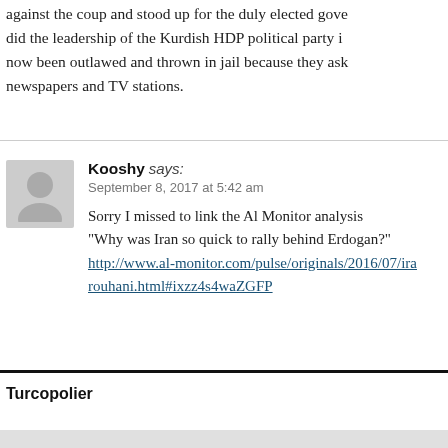against the coup and stood up for the duly elected gove... did the leadership of the Kurdish HDP political party i... now been outlawed and thrown in jail because they ask... newspapers and TV stations.
Kooshy says:
September 8, 2017 at 5:42 am

Sorry I missed to link the Al Monitor analysis "Why was Iran so quick to rally behind Erdogan?"
http://www.al-monitor.com/pulse/originals/2016/07/ira...rouhani.html#ixzz4s4waZGFP
Turcopolier